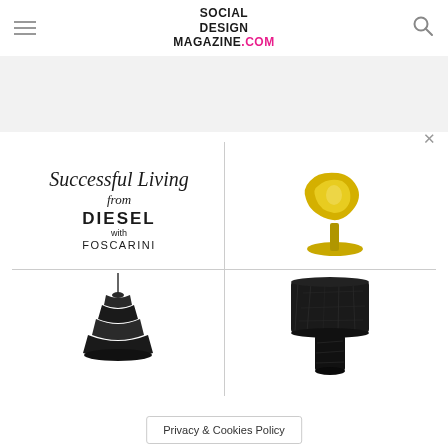SOCIAL DESIGN MAGAZINE.COM
[Figure (illustration): Advertisement for 'Successful Living from DIESEL with FOSCARINI' featuring four product images: script text branding (top-left), yellow spotlight lamp (top-right), black tiered pendant light (bottom-left), black marble table lamp (bottom-right)]
Privacy & Cookies Policy